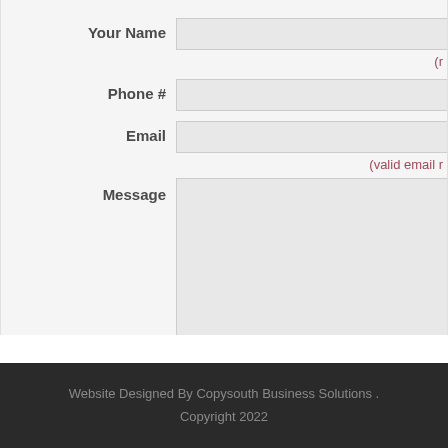Your Name
(r
Phone #
Email
(valid email r
Message
Website Designed By Copysouth Business Solutions . Copyright 2022